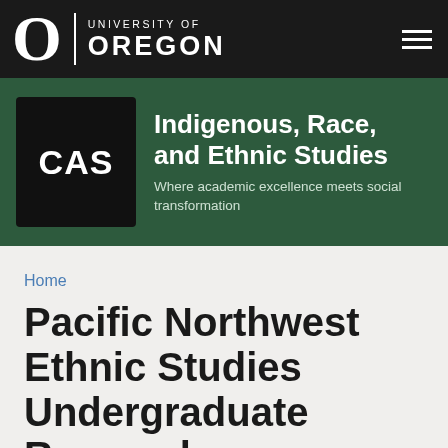[Figure (logo): University of Oregon logo with stylized O and wordmark on black navigation bar]
[Figure (logo): CAS logo box in black with green banner background, College of Arts and Sciences branding for Indigenous, Race, and Ethnic Studies department]
Indigenous, Race, and Ethnic Studies
Where academic excellence meets social transformation
Home
Pacific Northwest Ethnic Studies Undergraduate Research Symposium at UO, 2019